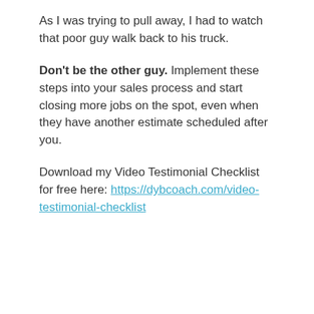As I was trying to pull away, I had to watch that poor guy walk back to his truck.
Don't be the other guy. Implement these steps into your sales process and start closing more jobs on the spot, even when they have another estimate scheduled after you.
Download my Video Testimonial Checklist for free here: https://dybcoach.com/video-testimonial-checklist